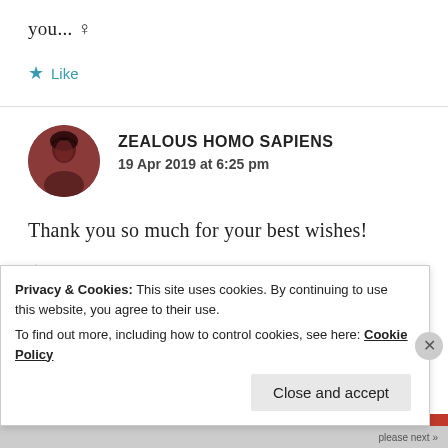you... ♀
★ Like
[Figure (photo): Circular avatar photo of a person with dark hair, against a dark reddish-brown background.]
ZEALOUS HOMO SAPIENS
19 Apr 2019 at 6:25 pm
Thank you so much for your best wishes!
★ Like
Privacy & Cookies: This site uses cookies. By continuing to use this website, you agree to their use.
To find out more, including how to control cookies, see here: Cookie Policy
Close and accept